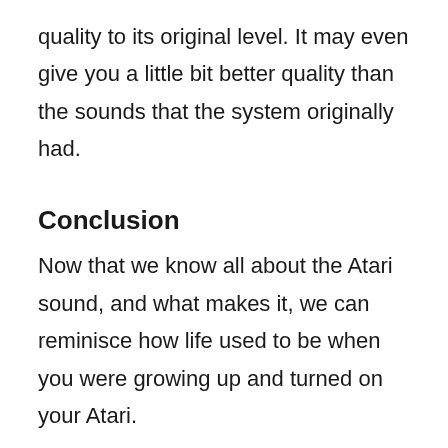quality to its original level. It may even give you a little bit better quality than the sounds that the system originally had.
Conclusion
Now that we know all about the Atari sound, and what makes it, we can reminisce how life used to be when you were growing up and turned on your Atari.
Although not everyone who is reading